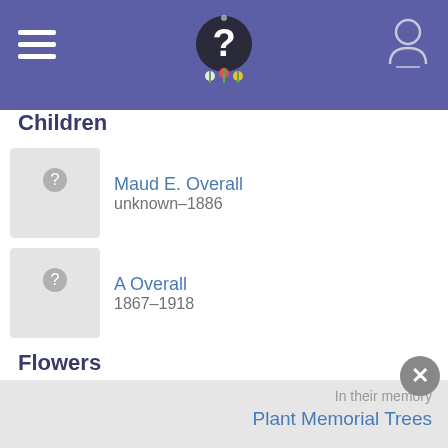Children
Children
Maud E. Overall
unknown–1886
A Overall
1867–1918
Florence Esther Overall Crews
1868–1916
Norman Overall
1871–1894
Guy Leonard Overall
1876–1929
Flowers
In their memory
Plant Memorial Trees